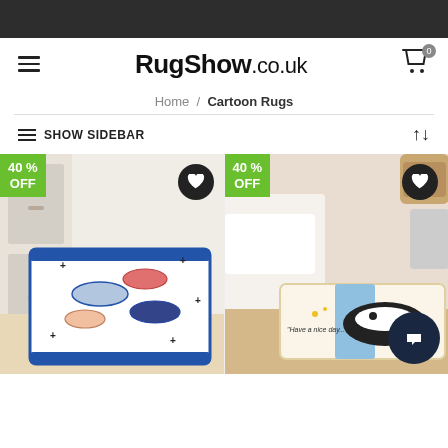RugShow.co.uk
Home / Cartoon Rugs
SHOW SIDEBAR
[Figure (photo): Cartoon fish patterned rug displayed in a kitchen next to white cabinet, with 40% OFF badge and wishlist heart button]
[Figure (photo): Cartoon killer whale / 'Have a nice day' patterned rug displayed in a bedroom, with 40% OFF badge, wishlist heart button, and chat bubble icon]